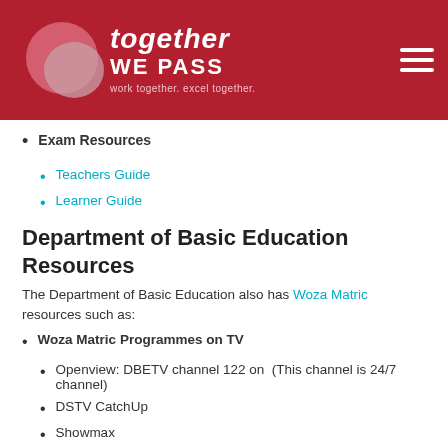Together We Pass – work together, excel together.
Exam Resources
Teachers Guide
Learner Guide
Department of Basic Education Resources
The Department of Basic Education also has Woza Matric resources such as:
Woza Matric Programmes on TV
Openview: DBETV channel 122 on  (This channel is 24/7 channel)
DSTV CatchUp
Showmax
You can get more information about the Woza